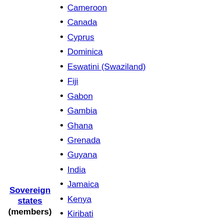Cameroon
Canada
Cyprus
Dominica
Eswatini (Swaziland)
Fiji
Gabon
Gambia
Ghana
Grenada
Guyana
India
Jamaica
Kenya
Kiribati
Lesotho
Malawi
Malaysia
Maldives
Malta
Mauritius
Mozambique
Namibia
Nauru
New Zealand
Sovereign states (members)